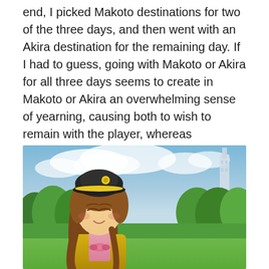end, I picked Makoto destinations for two of the three days, and then went with an Akira destination for the remaining day. If I had to guess, going with Makoto or Akira for all three days seems to create in Makoto or Akira an overwhelming sense of yearning, causing both to wish to remain with the player, whereas balancing things out gives either Makoto or Akira a chance to think things through and come to terms with expressing how they feel more openly.
[Figure (illustration): Anime-style illustration of a female character with long brown hair, wearing a black hat with a yellow band, a yellow jacket over a pink turtleneck with a pink bow. She is smiling with eyes closed, standing in front of a green park/field landscape with trees, blue sky with clouds, and a tall tower/building in the background on the right.]